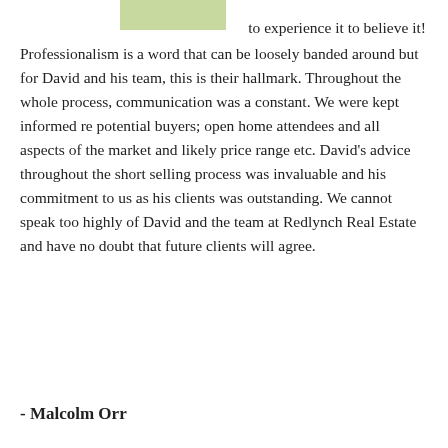[Figure (photo): Partial photo visible at top of page, showing green and white tones, cropped at page boundary.]
to experience it to believe it! Professionalism is a word that can be loosely banded around but for David and his team, this is their hallmark. Throughout the whole process, communication was a constant. We were kept informed re potential buyers; open home attendees and all aspects of the market and likely price range etc. David's advice throughout the short selling process was invaluable and his commitment to us as his clients was outstanding. We cannot speak too highly of David and the team at Redlynch Real Estate and have no doubt that future clients will agree.
- Malcolm Orr